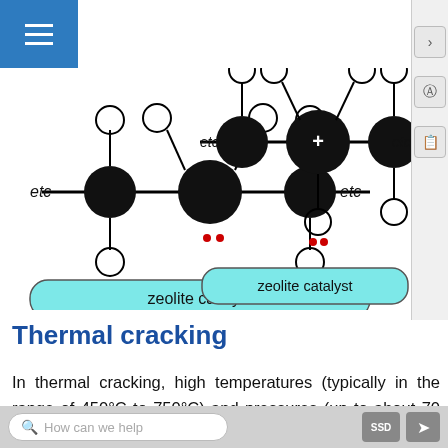[Figure (illustration): Two diagrams showing zeolite catalyst mechanism. Left diagram: hydrocarbon chain with carbon atoms (black circles) connected to hydrogen atoms (white circles) labeled 'etc' on both ends, with two red dots indicating electrons. Right diagram: same chain after reaction, with a '+' symbol on the central carbon (positive ion formed), an arrow and label 'positive ion formed' in red, and two red dots below. Both diagrams have a rounded rectangle labeled 'zeolite catalyst' below them.]
Thermal cracking
In thermal cracking, high temperatures (typically in the range of 450°C to 750°C) and pressures (up to about 70 atmospheres) are used to break the large hydrocarbons into smaller ones. Thermal cracking